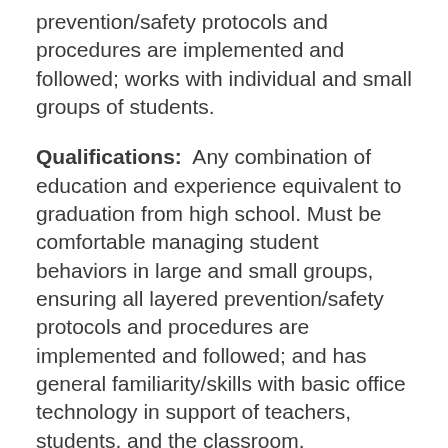prevention/safety protocols and procedures are implemented and followed; works with individual and small groups of students.
Qualifications: Any combination of education and experience equivalent to graduation from high school. Must be comfortable managing student behaviors in large and small groups, ensuring all layered prevention/safety protocols and procedures are implemented and followed; and has general familiarity/skills with basic office technology in support of teachers, students, and the classroom.
Hourly Band 4:    $16.36